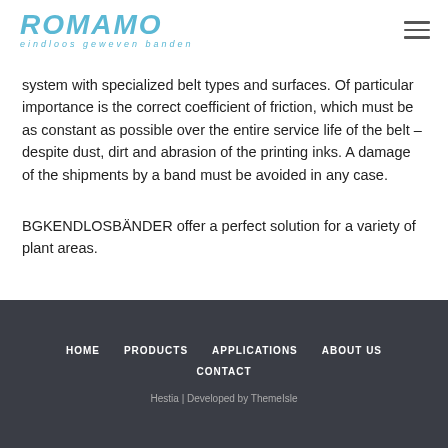ROMAMO eindloos geweven banden
system with specialized belt types and surfaces. Of particular importance is the correct coefficient of friction, which must be as constant as possible over the entire service life of the belt – despite dust, dirt and abrasion of the printing inks. A damage of the shipments by a band must be avoided in any case.
BGKENDLOSBÄNDER offer a perfect solution for a variety of plant areas.
HOME  PRODUCTS  APPLICATIONS  ABOUT US  CONTACT  Hestia | Developed by ThemeIsle